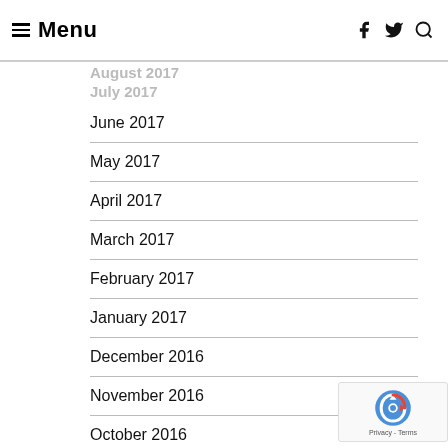Menu
August 2017
July 2017
June 2017
May 2017
April 2017
March 2017
February 2017
January 2017
December 2016
November 2016
October 2016
September 2016
August 2016
July 2016